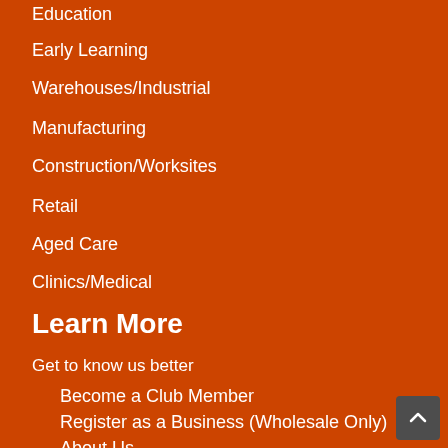Education
Early Learning
Warehouses/Industrial
Manufacturing
Construction/Worksites
Retail
Aged Care
Clinics/Medical
Learn More
Get to know us better
Become a Club Member
Register as a Business (Wholesale Only)
About Us